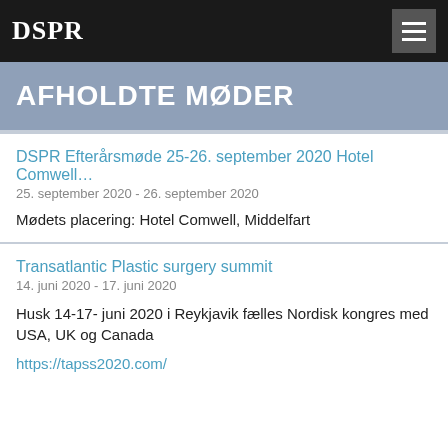DSPR
AFHOLDTE MØDER
DSPR Efterårsmøde 25-26. september 2020 Hotel Comwell…
25. september 2020 - 26. september 2020
Mødets placering: Hotel Comwell, Middelfart
Transatlantic Plastic surgery summit
14. juni 2020 - 17. juni 2020
Husk 14-17- juni 2020 i Reykjavik fælles Nordisk kongres med USA, UK og Canada
https://tapss2020.com/